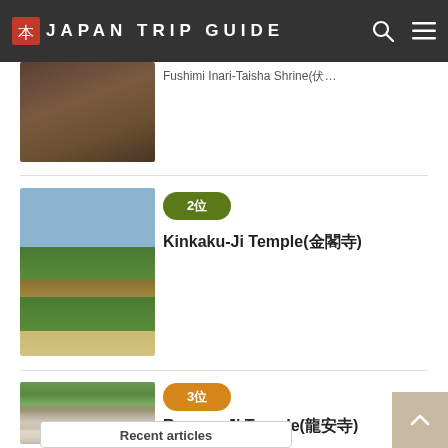JAPAN TRIP GUIDE
[Figure (photo): Partial view of article thumbnail showing documents/map, with title 'Fushimi Inari-Taisha Shrine(伏…']
Fushimi Inari-Taisha Shrine(伏…
[Figure (photo): Kinkaku-Ji Temple (Golden Pavilion) surrounded by green trees and reflected in a pond]
2位
Kinkaku-Ji Temple(金閣寺)
[Figure (photo): Ryouan-Ji Temple rock garden with raked gravel and stones, surrounded by green trees]
3位
Ryouan-Ji Temple(龍安寺)
Recent articles